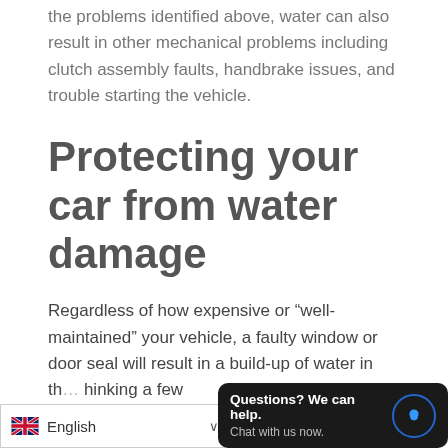the problems identified above, water can also result in other mechanical problems including clutch assembly faults, handbrake issues, and trouble starting the vehicle.
Protecting your car from water damage
Regardless of how expensive or “well-maintained” your vehicle, a faulty window or door seal will result in a build-up of water in th… hinking a few